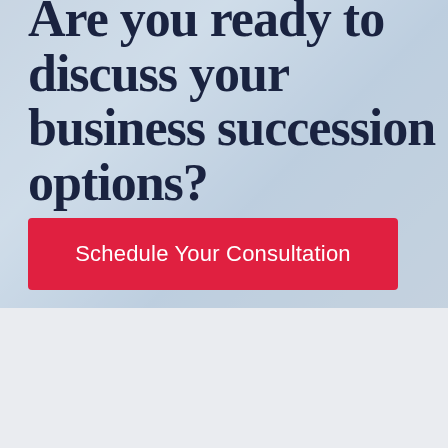Are you ready to discuss your business succession options?
Schedule Your Consultation
[Figure (logo): TREP Advisors logo with stylized bar chart icon between TREP and ADVISORS text]